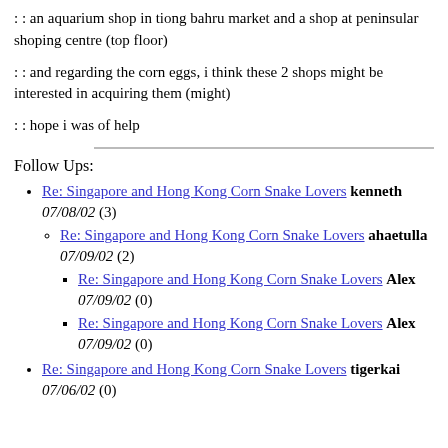: : an aquarium shop in tiong bahru market and a shop at peninsular shoping centre (top floor)
: : and regarding the corn eggs, i think these 2 shops might be interested in acquiring them (might)
: : hope i was of help
Follow Ups:
Re: Singapore and Hong Kong Corn Snake Lovers kenneth 07/08/02 (3)
Re: Singapore and Hong Kong Corn Snake Lovers ahaetulla 07/09/02 (2)
Re: Singapore and Hong Kong Corn Snake Lovers Alex 07/09/02 (0)
Re: Singapore and Hong Kong Corn Snake Lovers Alex 07/09/02 (0)
Re: Singapore and Hong Kong Corn Snake Lovers tigerkai 07/06/02 (0)